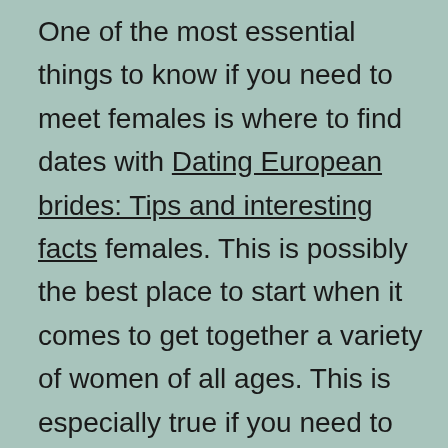One of the most essential things to know if you need to meet females is where to find dates with Dating European brides: Tips and interesting facts females. This is possibly the best place to start when it comes to get together a variety of women of all ages. This is especially true if you need to find a wide array of women and usually do not care about spending too much time in talking to every single one. You need to understand that it will be hard approach some women of all ages if you do not know where to find them. Because of this you should know how to find dates with